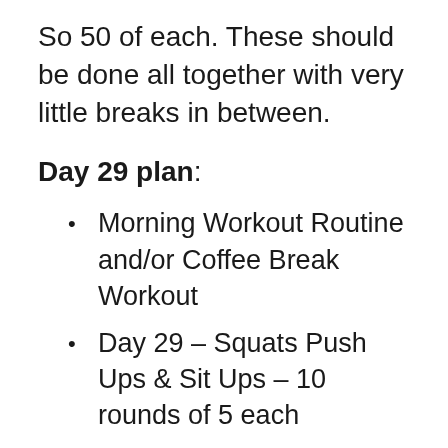So 50 of each. These should be done all together with very little breaks in between.
Day 29 plan:
Morning Workout Routine and/or Coffee Break Workout
Day 29 – Squats Push Ups & Sit Ups – 10 rounds of 5 each
Bonus – Another set of 10